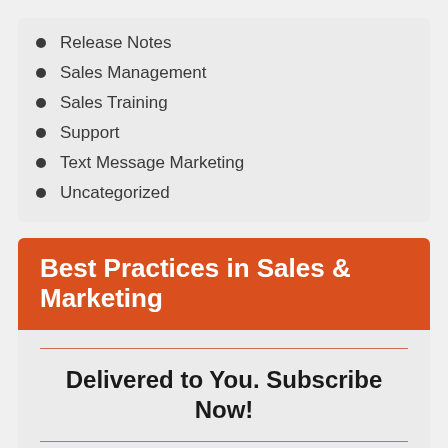Release Notes
Sales Management
Sales Training
Support
Text Message Marketing
Uncategorized
Best Practices in Sales & Marketing
Delivered to You. Subscribe Now!